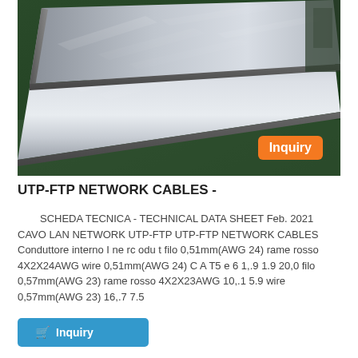[Figure (photo): Photo of large shiny metallic/aluminum flat sheet or panel on a green factory floor, with an orange 'Inquiry' badge in the bottom-right corner of the image.]
UTP-FTP NETWORK CABLES -
SCHEDA TECNICA - TECHNICAL DATA SHEET Feb. 2021 CAVO LAN NETWORK UTP-FTP UTP-FTP NETWORK CABLES Conduttore interno I ne rc odu t filo 0,51mm(AWG 24) rame rosso 4X2X24AWG wire 0,51mm(AWG 24) C A T5 e 6 1,.9 1.9 20,0 filo 0,57mm(AWG 23) rame rosso 4X2X23AWG 10,.1 5.9 wire 0,57mm(AWG 23) 16,.7 7.5